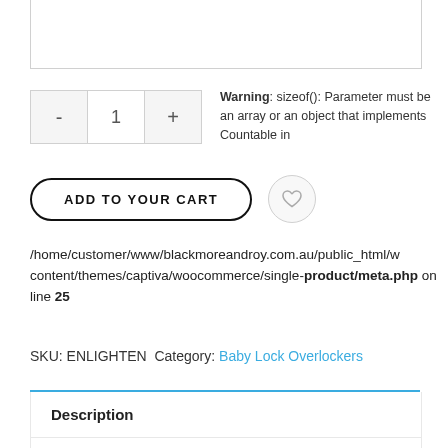[Figure (screenshot): Top portion of a product page input box (partial, cropped)]
Warning: sizeof(): Parameter must be an array or an object that implements Countable in /home/customer/www/blackmoreandroy.com.au/public_html/w content/themes/captiva/woocommerce/single-product/meta.php on line 25
SKU: ENLIGHTEN Category: Baby Lock Overlockers
Description
Additional